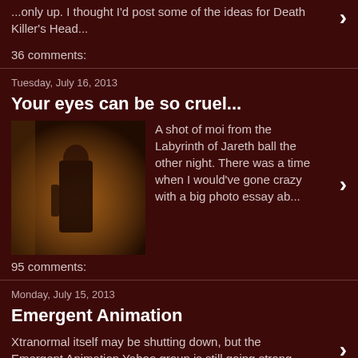...only up. I thought I'd post some of the ideas for Death Killer's Head...
36 comments:
Tuesday, July 16, 2013
Your eyes can be so cruel...
[Figure (photo): A dark photo of a person in costume at the Labyrinth of Jareth ball]
A shot of moi from the Labyrinth of Jareth ball the other night. There was a time when I would've gone crazy with a big photo essay ab...
95 comments:
Monday, July 15, 2013
Emergent Animation
Xtranormal itself may be shutting down, but the Emergent Animation Yahoo group is still going strong. The group is a meeting place for user...
46 comments:
Saturday, July 13, 2013
SPONTANEOUS